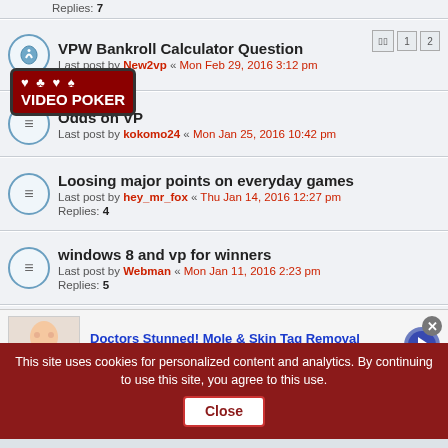Replies: 7
VPW Bankroll Calculator Question
Last post by New2vp « Mon Feb 29, 2016 3:12 pm
Odds on VP
Last post by kokomo24 « Mon Jan 25, 2016 10:42 pm
Loosing major points on everyday games
Last post by hey_mr_fox « Thu Jan 14, 2016 12:27 pm
Replies: 4
windows 8 and vp for winners
Last post by Webman « Mon Jan 11, 2016 2:23 pm
Replies: 5
discount on software for gold members
Last post by Hanerasa « Fri Dec 25, 2015 6:28 am
Replies: 9
Video Poker Tournaments
Doctors Stunned! Mole & Skin Tag Removal
n/a
This site uses cookies for personalized content and analytics. By continuing to use this site, you agree to this use. Close